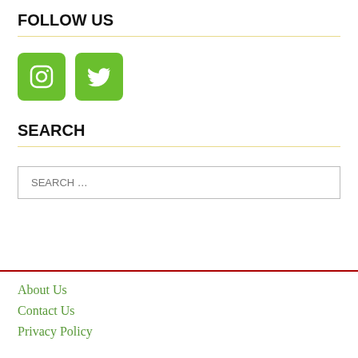FOLLOW US
[Figure (illustration): Two green rounded square social media icons: Instagram (camera icon) and Twitter (bird icon)]
SEARCH
SEARCH …
About Us
Contact Us
Privacy Policy